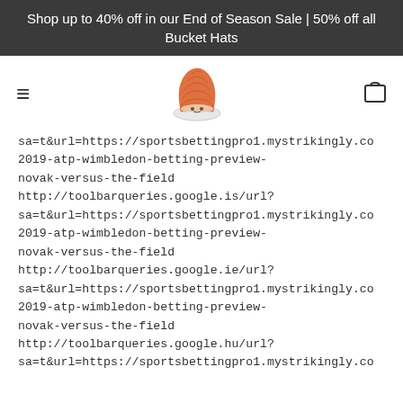Shop up to 40% off in our End of Season Sale | 50% off all Bucket Hats
[Figure (logo): Orange knitted hat logo in center of navigation bar, with hamburger menu icon on left and shopping cart icon on right]
sa=t&url=https://sportsbettingpro1.mystrikingly.com/2019-atp-wimbledon-betting-preview-novak-versus-the-field http://toolbarqueries.google.is/url?sa=t&url=https://sportsbettingpro1.mystrikingly.com/2019-atp-wimbledon-betting-preview-novak-versus-the-field http://toolbarqueries.google.ie/url?sa=t&url=https://sportsbettingpro1.mystrikingly.com/2019-atp-wimbledon-betting-preview-novak-versus-the-field http://toolbarqueries.google.hu/url?sa=t&url=https://sportsbettingpro1.mystrikingly.com